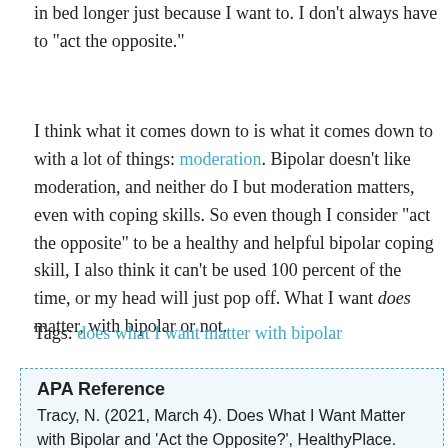in bed longer just because I want to. I don't always have to "act the opposite."
I think what it comes down to is what it comes down to with a lot of things: moderation. Bipolar doesn't like moderation, and neither do I but moderation matters, even with coping skills. So even though I consider "act the opposite" to be a healthy and helpful bipolar coping skill, I also think it can't be used 100 percent of the time, or my head will just pop off. What I want does matter, with bipolar or not.
Tags: does what I want matter with bipolar
APA Reference
Tracy, N. (2021, March 4). Does What I Want Matter with Bipolar and 'Act the Opposite?', HealthyPlace. Retrieved on 2022, August 28 from
https://www.healthyplace.com/blogs/breakingbipolar/2021/3/...